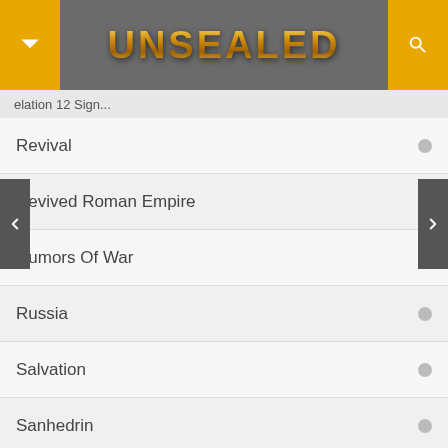UNSEALED
elation 12 Sign...
Revival
Revived Roman Empire
Rumors Of War
Russia
Salvation
Sanhedrin
Saudi Arabia
Science
Second Coming